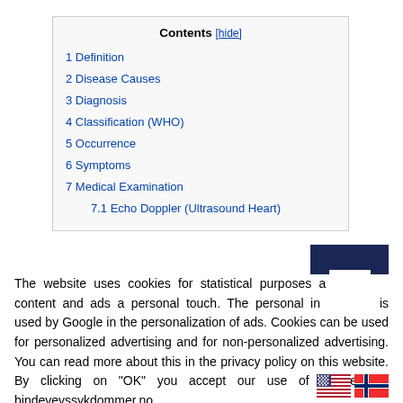Contents [hide]
1 Definition
2 Disease Causes
3 Diagnosis
4 Classification (WHO)
5 Occurrence
6 Symptoms
7 Medical Examination
7.1 Echo Doppler (Ultrasound Heart)
The website uses cookies for statistical purposes and to give content and ads a personal touch. The personal information is used by Google in the personalization of ads. Cookies can be used for personalized advertising and for non-personalized advertising. You can read more about this in the privacy policy on this website. By clicking on "OK" you accept our use of cookies on bindevevssykdommer.no ..
Cookie settings
OK